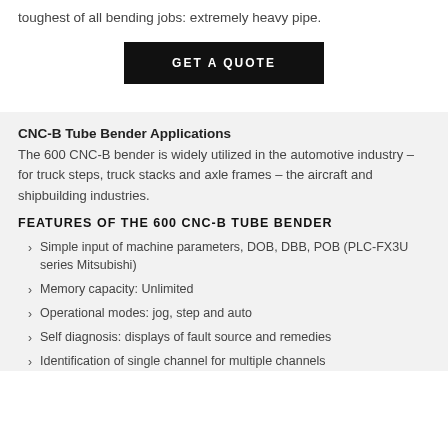toughest of all bending jobs: extremely heavy pipe.
[Figure (other): Black button with white uppercase text: GET A QUOTE]
CNC-B Tube Bender Applications
The 600 CNC-B bender is widely utilized in the automotive industry – for truck steps, truck stacks and axle frames – the aircraft and shipbuilding industries.
FEATURES OF THE 600 CNC-B TUBE BENDER
Simple input of machine parameters, DOB, DBB, POB (PLC-FX3U series Mitsubishi)
Memory capacity: Unlimited
Operational modes: jog, step and auto
Self diagnosis: displays of fault source and remedies
Identification of single channel for multiple channels